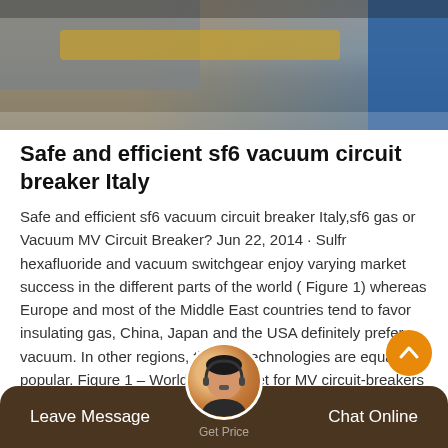[Figure (photo): Industrial factory/workshop scene with yellow overhead beam/bar, gray machinery, and a person in a blue uniform/jacket on the right side.]
Safe and efficient sf6 vacuum circuit breaker Italy
Safe and efficient sf6 vacuum circuit breaker Italy,sf6 gas or Vacuum MV Circuit Breaker? Jun 22, 2014 · Sulfr hexafluoride and vacuum switchgear enjoy varying market success in the different parts of the world ( Figure 1) whereas Europe and most of the Middle East countries tend to favor insulating gas, China, Japan and the USA definitely prefer vacuum. In other regions, the two technologies are equally popular. Figure 1 – Worldwide market for MV circuit-breakers by region.
Leave Message    Get Price    Chat Online